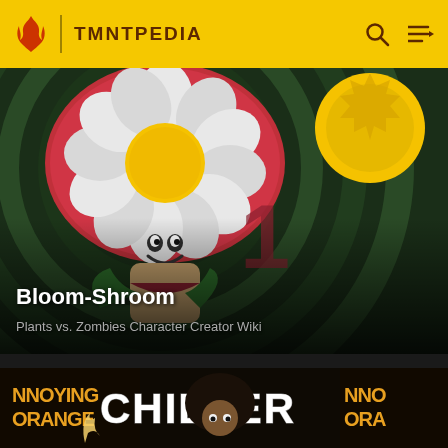TMNTPEDIA
[Figure (screenshot): Bloom-Shroom card with cartoon mushroom flower character on dark green background with concentric circle pattern]
Bloom-Shroom
Plants vs. Zombies Character Creator Wiki
[Figure (screenshot): Chiller card showing Annoying Orange and Chiller text in white brushstroke font with a person wearing a dark afro wig]